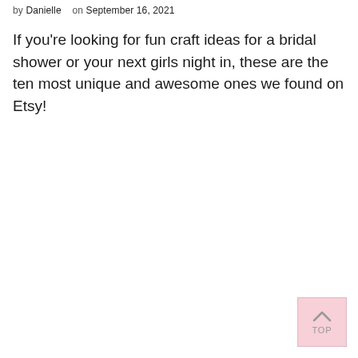by Danielle   on September 16, 2021
If you're looking for fun craft ideas for a bridal shower or your next girls night in, these are the ten most unique and awesome ones we found on Etsy!
[Figure (other): Back to top button with upward arrow chevron and 'TOP' label, pink background]